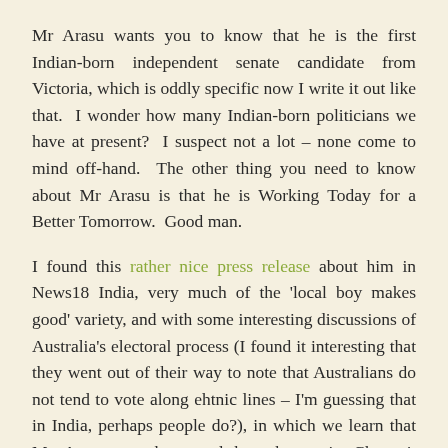Mr Arasu wants you to know that he is the first Indian-born independent senate candidate from Victoria, which is oddly specific now I write it out like that.  I wonder how many Indian-born politicians we have at present?  I suspect not a lot – none come to mind off-hand.  The other thing you need to know about Mr Arasu is that he is Working Today for a Better Tomorrow.  Good man.
I found this rather nice press release about him in News18 India, very much of the 'local boy makes good' variety, and with some interesting discussions of Australia's electoral process (I found it interesting that they went out of their way to note that Australians do not tend to vote along ehtnic lines – I'm guessing that in India, perhaps people do?), in which we learn that Mr Arasu was born and brought up in Chennai, studied